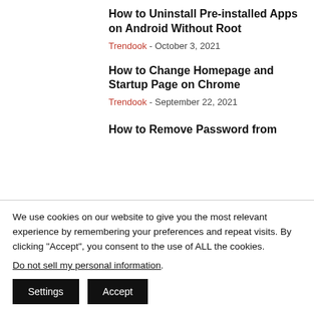How to Uninstall Pre-installed Apps on Android Without Root
Trendook - October 3, 2021
How to Change Homepage and Startup Page on Chrome
Trendook - September 22, 2021
How to Remove Password from
We use cookies on our website to give you the most relevant experience by remembering your preferences and repeat visits. By clicking "Accept", you consent to the use of ALL the cookies.
Do not sell my personal information.
Settings  Accept